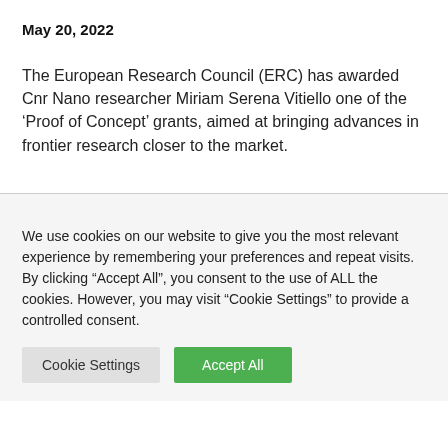May 20, 2022
The European Research Council (ERC) has awarded Cnr Nano researcher Miriam Serena Vitiello one of the ‘Proof of Concept’ grants, aimed at bringing advances in frontier research closer to the market.
We use cookies on our website to give you the most relevant experience by remembering your preferences and repeat visits. By clicking “Accept All”, you consent to the use of ALL the cookies. However, you may visit “Cookie Settings” to provide a controlled consent.